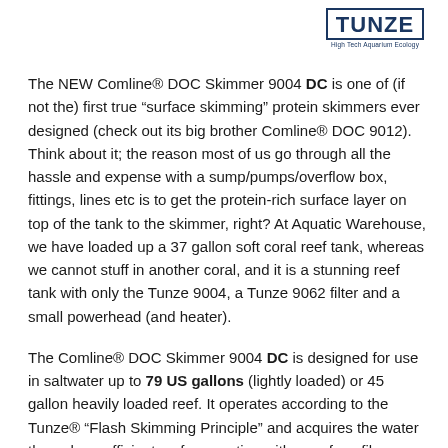[Figure (logo): TUNZE logo with text 'High Tech Aquarium Ecology' in a rectangular border]
The NEW Comline® DOC Skimmer 9004 DC is one of (if not the) first true “surface skimming” protein skimmers ever designed (check out its big brother Comline® DOC 9012). Think about it; the reason most of us go through all the hassle and expense with a sump/pumps/overflow box, fittings, lines etc is to get the protein-rich surface layer on top of the tank to the skimmer, right? At Aquatic Warehouse, we have loaded up a 37 gallon soft coral reef tank, whereas we cannot stuff in another coral, and it is a stunning reef tank with only the Tunze 9004, a Tunze 9062 filter and a small powerhead (and heater).
The Comline® DOC Skimmer 9004 DC is designed for use in saltwater up to 79 US gallons (lightly loaded) or 45 gallon heavily loaded reef. It operates according to the Tunze® “Flash Skimming Principle” and acquires the water through an efficient surface suction with a surface film removal.